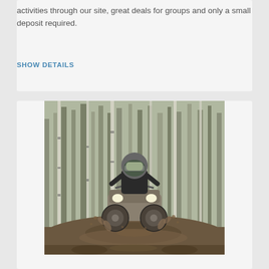activities through our site, great deals for groups and only a small deposit required.
SHOW DETAILS
[Figure (photo): A person riding an ATV quad bike through a muddy forest trail, splashing mud, with birch trees in the background and headlights on.]